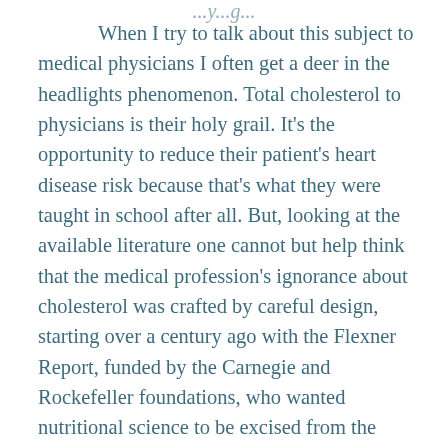...y...g...
When I try to talk about this subject to medical physicians I often get a deer in the headlights phenomenon. Total cholesterol to physicians is their holy grail. It's the opportunity to reduce their patient's heart disease risk because that's what they were taught in school after all. But, looking at the available literature one cannot but help think that the medical profession's ignorance about cholesterol was crafted by careful design, starting over a century ago with the Flexner Report, funded by the Carnegie and Rockefeller foundations, who wanted nutritional science to be excised from the medical school curriculum. To a great extent this has...